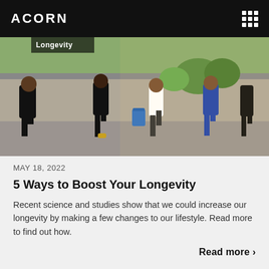ACORN
[Figure (photo): Group of people running outdoors during a fitness event, shown from the waist down, wearing athletic clothing, with a blue barrel and fence visible in the background. A tag in upper left reads 'Longevity'.]
MAY 18, 2022
5 Ways to Boost Your Longevity
Recent science and studies show that we could increase our longevity by making a few changes to our lifestyle. Read more to find out how.
Read more >